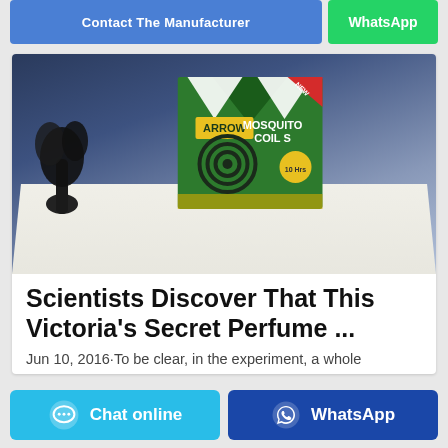[Figure (screenshot): Top navigation buttons: blue 'Contact the Manufacturer' button and green 'WhatsApp' button]
[Figure (photo): Product photo of Arrow Mosquito Coils box sitting on white cloth against dark blue background with black plant on left]
Scientists Discover That This Victoria's Secret Perfume ...
Jun 10, 2016·To be clear, in the experiment, a whole
[Figure (screenshot): Bottom action buttons: light blue 'Chat online' button with chat icon and dark blue 'WhatsApp' button with WhatsApp icon]